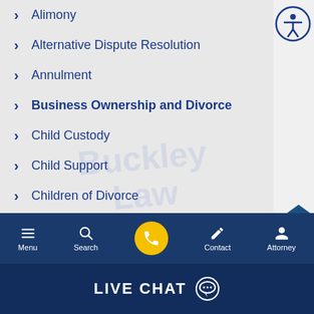Alimony
Alternative Dispute Resolution
Annulment
Business Ownership and Divorce
Child Custody
Child Support
Children of Divorce
Co-Parenting
Cohabitation
Menu  Search  Contact  Attorney  LIVE CHAT